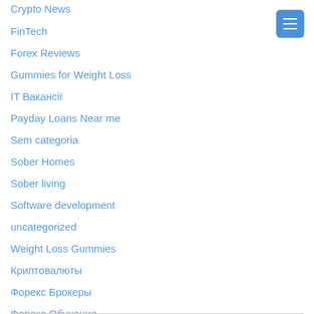Crypto News
FinTech
Forex Reviews
Gummies for Weight Loss
IT Вакансії
Payday Loans Near me
Sem categoria
Sober Homes
Sober living
Software development
uncategorized
Weight Loss Gummies
Криптовалюты
Форекс Брокеры
Форекс Обучение